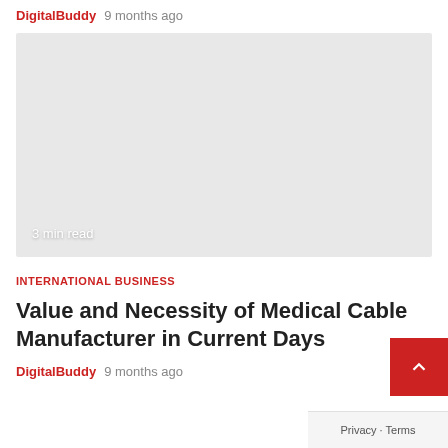DigitalBuddy  9 months ago
[Figure (photo): Gray placeholder image with '3 min read' badge in bottom left corner]
3 min read
INTERNATIONAL BUSINESS
Value and Necessity of Medical Cable Manufacturer in Current Days
DigitalBuddy  9 months ago